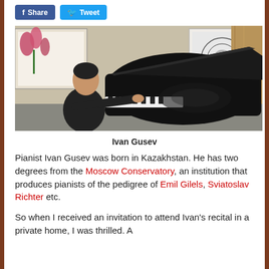[Figure (other): Social media share and tweet buttons]
[Figure (photo): Ivan Gusev, a pianist in a dark suit, seated at a grand piano playing, with artwork and flowers visible in background]
Ivan Gusev
Pianist Ivan Gusev was born in Kazakhstan. He has two degrees from the Moscow Conservatory, an institution that produces pianists of the pedigree of Emil Gilels, Sviatoslav Richter etc.
So when I received an invitation to attend Ivan's recital in a private home, I was thrilled. A Russian...